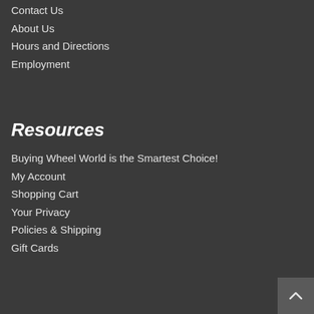Contact Us
About Us
Hours and Directions
Employment
Resources
Buying Wheel World is the Smartest Choice!
My Account
Shopping Cart
Your Privacy
Policies & Shipping
Gift Cards
Stay Connected
[Figure (illustration): Social media icons: Facebook, Twitter, Instagram]